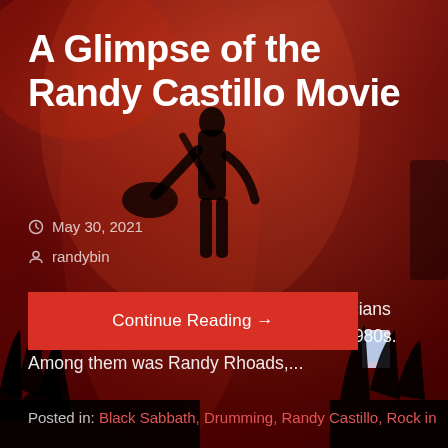[Figure (photo): Concert photo with red atmospheric lighting; a guitarist silhouetted on stage with crowd raising hands in foreground, smoky red background]
A Glimpse of the Randy Castillo Movie
May 30, 2021
randybin
The careers of many talented young musicians were launched by Ozzy Osbourne in the 1980s. Among them was Randy Rhoads,...
Continue Reading →
Posted in: Black Sabbath, Drumming, Randy Castillo, Rock in